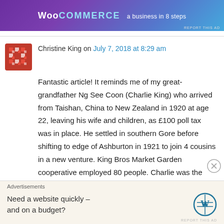[Figure (screenshot): WooCommerce advertisement banner with purple/blue gradient background, showing WooCommerce logo and text 'a business in 8 steps']
Christine King on July 7, 2018 at 8:29 am
Fantastic article! It reminds me of my great-grandfather Ng See Coon (Charlie King) who arrived from Taishan, China to New Zealand in 1920 at age 22, leaving his wife and children, as £100 poll tax was in place. He settled in southern Gore before shifting to edge of Ashburton in 1921 to join 4 cousins in a new venture. King Bros Market Garden cooperative employed 80 people. Charlie was the head of
Advertisements
Need a website quickly – and on a budget?